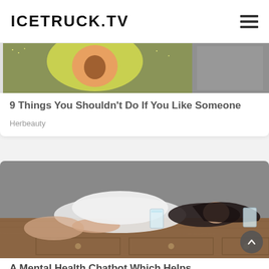ICETRUCK.TV
[Figure (photo): Partial top portion of an article card showing a cropped image, likely featuring a person with avocado or similar colorful background]
9 Things You Shouldn't Do If You Like Someone
Herbeauty
[Figure (photo): A woman in white clothing lying on a wooden table/dresser with two glasses of water, looking at the camera]
A Mental Health Chatbot Which Helps